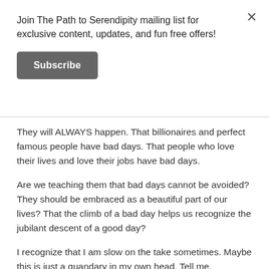Join The Path to Serendipity mailing list for exclusive content, updates, and fun free offers!
Subscribe
They will ALWAYS happen. That billionaires and perfect famous people have bad days. That people who love their lives and love their jobs have bad days.
Are we teaching them that bad days cannot be avoided? They should be embraced as a beautiful part of our lives? That the climb of a bad day helps us recognize the jubilant descent of a good day?
I recognize that I am slow on the take sometimes. Maybe this is just a quandary in my own head. Tell me,